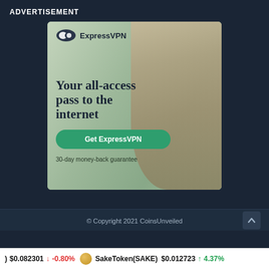ADVERTISEMENT
[Figure (illustration): ExpressVPN advertisement banner showing a woman sitting outdoors using a laptop. Features ExpressVPN logo, headline 'Your all-access pass to the internet', a green 'Get ExpressVPN' button, and text '30-day money-back guarantee'.]
© Copyright 2021 CoinsUnveiled
) $0.082301 -0.80% SakeToken(SAKE) $0.012723 4.37%